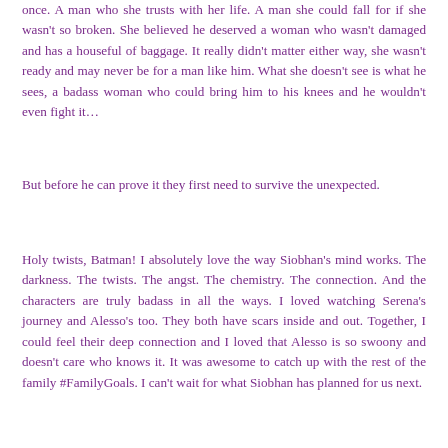once. A man who she trusts with her life. A man she could fall for if she wasn't so broken. She believed he deserved a woman who wasn't damaged and has a houseful of baggage. It really didn't matter either way, she wasn't ready and may never be for a man like him. What she doesn't see is what he sees, a badass woman who could bring him to his knees and he wouldn't even fight it…
But before he can prove it they first need to survive the unexpected.
Holy twists, Batman! I absolutely love the way Siobhan's mind works. The darkness. The twists. The angst. The chemistry. The connection. And the characters are truly badass in all the ways. I loved watching Serena's journey and Alesso's too. They both have scars inside and out. Together, I could feel their deep connection and I loved that Alesso is so swoony and doesn't care who knows it. It was awesome to catch up with the rest of the family #FamilyGoals. I can't wait for what Siobhan has planned for us next.